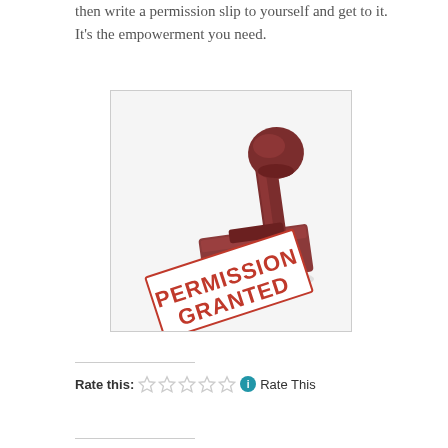then write a permission slip to yourself and get to it. It's the empowerment you need.
[Figure (photo): A rubber stamp imprinting 'PERMISSION GRANTED' in red text on a white surface, with a dark reddish-brown wooden stamp handle.]
Rate this: ☆☆☆☆☆ ℹ Rate This